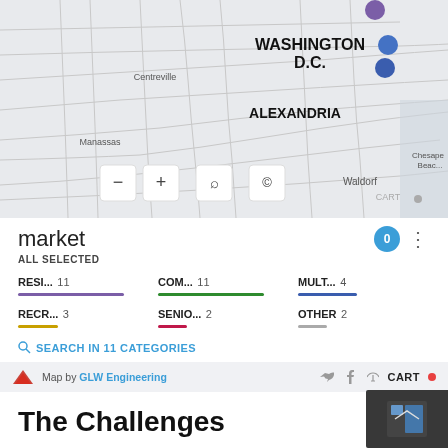[Figure (map): Interactive map showing Washington D.C., Alexandria, Centreville, Manassas, Waldorf, Chesapeake Beach areas with colored dot markers (purple and blue) and map controls (zoom in/out, search, location).]
market
ALL SELECTED
RESI... 11
COM... 11
MULT... 4
RECR... 3
SENIO... 2
OTHER 2
SEARCH IN 11 CATEGORIES
Map by GLW Engineering
The Challenges